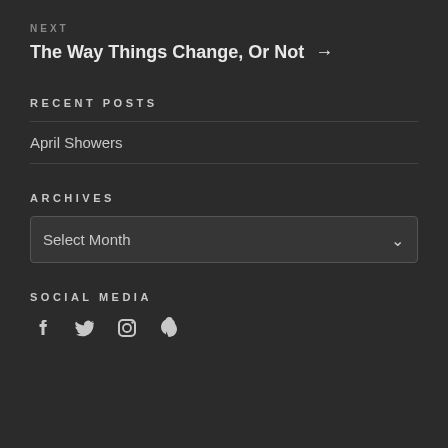NEXT
The Way Things Change, Or Not →
RECENT POSTS
April Showers
ARCHIVES
Select Month
SOCIAL MEDIA
[Figure (infographic): Social media icons: Facebook, Twitter, Instagram, Pinterest]